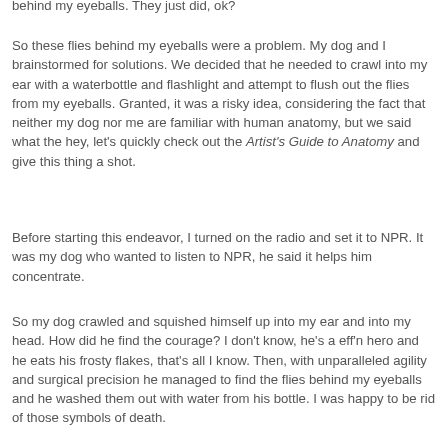behind my eyeballs. They just did, ok?
So these flies behind my eyeballs were a problem. My dog and I brainstormed for solutions. We decided that he needed to crawl into my ear with a waterbottle and flashlight and attempt to flush out the flies from my eyeballs. Granted, it was a risky idea, considering the fact that neither my dog nor me are familiar with human anatomy, but we said what the hey, let's quickly check out the Artist's Guide to Anatomy and give this thing a shot.
Before starting this endeavor, I turned on the radio and set it to NPR. It was my dog who wanted to listen to NPR, he said it helps him concentrate.
So my dog crawled and squished himself up into my ear and into my head. How did he find the courage? I don't know, he's a eff'n hero and he eats his frosty flakes, that's all I know. Then, with unparalleled agility and surgical precision he managed to find the flies behind my eyeballs and he washed them out with water from his bottle. I was happy to be rid of those symbols of death.